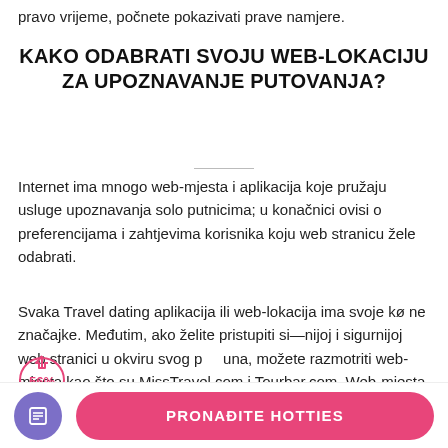pravo vrijeme, počnete pokazivati prave namjere.
KAKO ODABRATI SVOJU WEB-LOKACIJU ZA UPOZNAVANJE PUTOVANJA?
Internet ima mnogo web-mjesta i aplikacija koje pružaju usluge upoznavanja solo putnicima; u konačnici ovisi o preferencijama i zahtjevima korisnika koju web stranicu žele odabrati.
Svaka Travel dating aplikacija ili web-lokacija ima svoje ključne značajke. Međutim, ako želite pristupiti sigurnijoj i sigurnijoj web stranici u okviru svog budžuna, možete razmotriti web-mjesta kao što su MissTravel.com i Tourbar.com. Web-mjesta za
[Figure (other): A circular annotation showing '56%' in red/pink text with an upward arrow icon, overlaid on the body text.]
[Figure (other): Bottom navigation bar with a purple circular icon button (document icon) and a pink rounded rectangle button labeled 'PRONAĐITE HOTTIES']